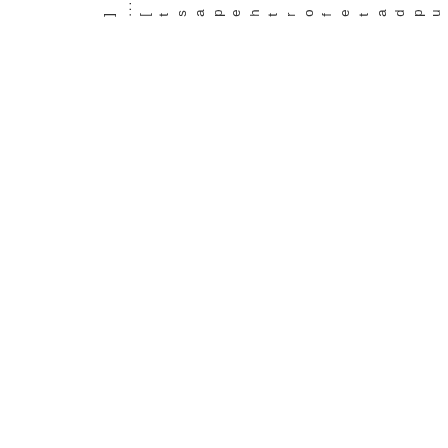networthupdate for the past [...]